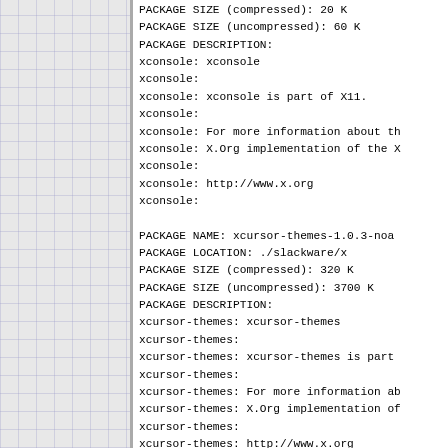PACKAGE SIZE (compressed):  20 K
PACKAGE SIZE (uncompressed):  60 K
PACKAGE DESCRIPTION:
xconsole: xconsole
xconsole:
xconsole: xconsole is part of X11.
xconsole:
xconsole: For more information about th
xconsole: X.Org implementation of the X
xconsole:
xconsole: http://www.x.org
xconsole:

PACKAGE NAME:  xcursor-themes-1.0.3-noa
PACKAGE LOCATION:  ./slackware/x
PACKAGE SIZE (compressed):  320 K
PACKAGE SIZE (uncompressed):  3700 K
PACKAGE DESCRIPTION:
xcursor-themes: xcursor-themes
xcursor-themes:
xcursor-themes: xcursor-themes is part
xcursor-themes:
xcursor-themes: For more information ab
xcursor-themes: X.Org implementation of
xcursor-themes:
xcursor-themes: http://www.x.org
xcursor-themes:

PACKAGE NAME:  xcursorgen-1.0.4-i486-1.
PACKAGE LOCATION:  ./slackware/x